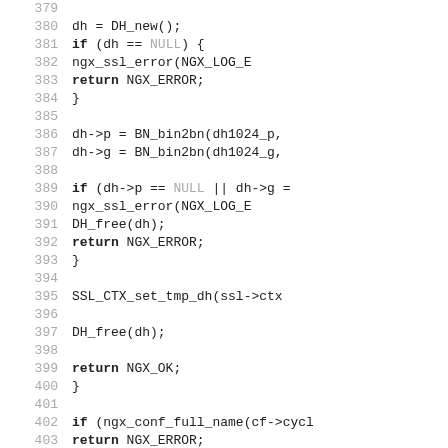[Figure (screenshot): Source code listing (C language) showing lines 379-408 with line numbers on left and code on right. Keywords 'if', 'return' are bold. NULL is shown in gray.]